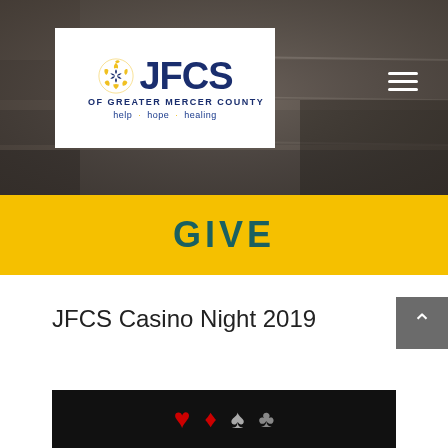[Figure (screenshot): Hero banner with blurred newspaper background and JFCS of Greater Mercer County logo (white box with blue and gold logo, tagline: help hope healing), plus hamburger menu icon top right]
GIVE
JFCS Casino Night 2019
[Figure (photo): Bottom strip showing casino card suit symbols (hearts, diamonds, spades, clubs) on dark background]